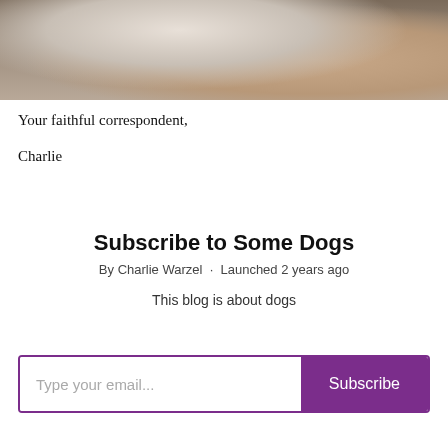[Figure (photo): Partial photo of a dog (white/gray) resting on or near a person's lap, with wooden furniture visible in the background.]
Your faithful correspondent,
Charlie
Subscribe to Some Dogs
By Charlie Warzel · Launched 2 years ago
This blog is about dogs